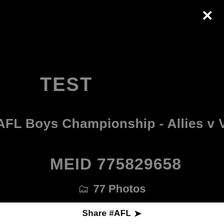[Figure (screenshot): Black background UI overlay showing TEST label, AFL Boys Championship subtitle, MEID number, photo count, and share bar]
TEST
8 AFL Boys Championship - Allies v Vic Me
MEID 775829658
77 Photos
Share #AFL